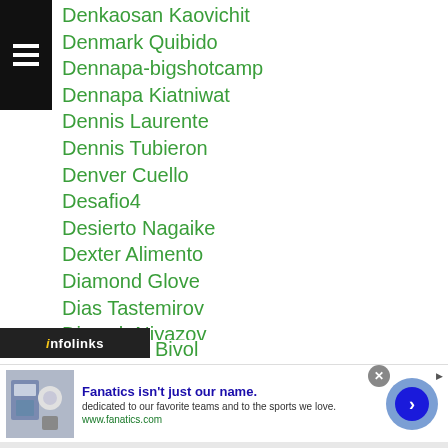Denkaosan Kaovichit
Denmark Quibido
Dennapa-bigshotcamp
Dennapa Kiatniwat
Dennis Laurente
Dennis Tubieron
Denver Cuello
Desafio4
Desierto Nagaike
Dexter Alimento
Diamond Glove
Dias Tastemirov
Dimash Niyazov
Dingko Singh
Diomel Diocos
Disappointment
Bivol
[Figure (screenshot): Infolinks advertisement bar overlay]
[Figure (infographic): Fanatics advertisement banner with sports merchandise image, title 'Fanatics isn't just our name.', description text, URL www.fanatics.com, and a forward arrow button]